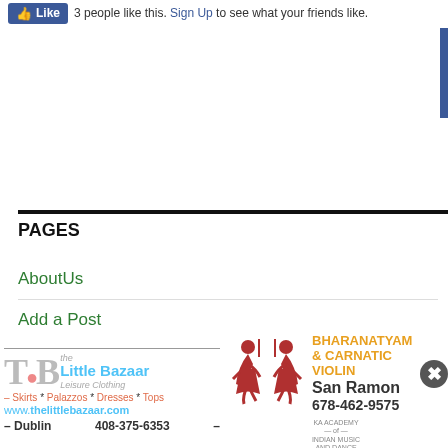3 people like this. Sign Up to see what your friends like.
PAGES
AboutUs
Add a Post
Business Directory
Categories
FAQ
[Figure (logo): The Little Bazaar - Leisure Clothing ad with logo, items: Skirts * Palazzos * Dresses * Tops, url: www.thelittlebazaar.com, Dublin, 408-375-6353]
[Figure (logo): KA Academy of Indian Music and Dance - Bharanatyam & Carnatic Violin, San Ramon, 678-462-9575]
Login